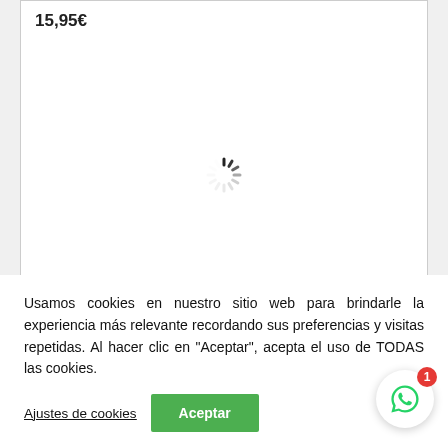15,95€
[Figure (other): Loading spinner (circular dashed loading indicator)]
Usamos cookies en nuestro sitio web para brindarle la experiencia más relevante recordando sus preferencias y visitas repetidas. Al hacer clic en "Aceptar", acepta el uso de TODAS las cookies.
Ajustes de cookies
Aceptar
[Figure (other): WhatsApp contact button (green WhatsApp icon in white circle with red notification badge showing 1)]